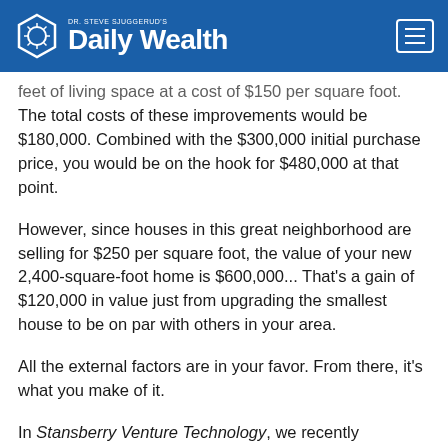DR. STEVE SJUGGERUD'S Daily Wealth
feet of living space at a cost of $150 per square foot. The total costs of these improvements would be $180,000. Combined with the $300,000 initial purchase price, you would be on the hook for $480,000 at that point.
However, since houses in this great neighborhood are selling for $250 per square foot, the value of your new 2,400-square-foot home is $600,000... That's a gain of $120,000 in value just from upgrading the smallest house to be on par with others in your area.
All the external factors are in your favor. From there, it's what you make of it.
In Stansberry Venture Technology, we recently